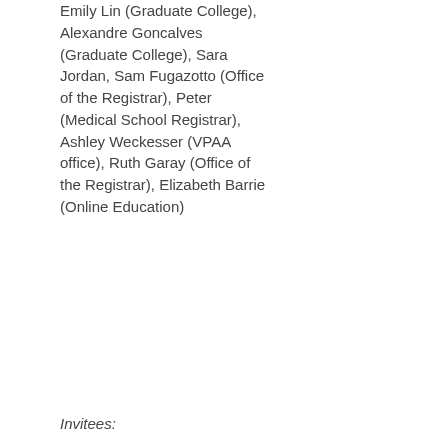Emily Lin (Graduate College), Alexandre Goncalves (Graduate College), Sara Jordan, Sam Fugazotto (Office of the Registrar), Peter (Medical School Registrar), Ashley Weckesser (VPAA office), Ruth Garay (Office of the Registrar), Elizabeth Barrie (Online Education)
Invitees: